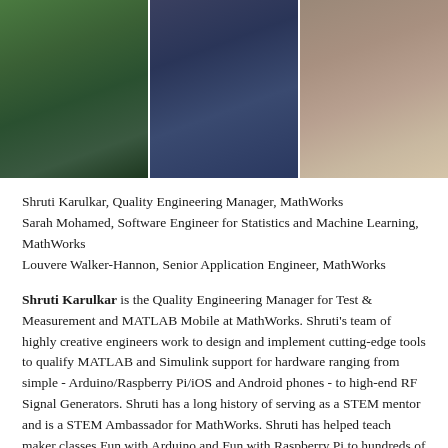[Figure (photo): Three headshots of women side by side: left woman in green floral top, center woman in navy blazer, right woman in light top with scarf]
Shruti Karulkar, Quality Engineering Manager, MathWorks
Sarah Mohamed, Software Engineer for Statistics and Machine Learning, MathWorks
Louvere Walker-Hannon, Senior Application Engineer, MathWorks
Shruti Karulkar is the Quality Engineering Manager for Test & Measurement and MATLAB Mobile at MathWorks. Shruti's team of highly creative engineers work to design and implement cutting-edge tools to qualify MATLAB and Simulink support for hardware ranging from simple - Arduino/Raspberry Pi/iOS and Android phones - to high-end RF Signal Generators. Shruti has a long history of serving as a STEM mentor and is a STEM Ambassador for MathWorks. Shruti has helped teach maker classes Fun with Arduino and Fun with Raspberry Pi to hundreds of attendees. She is actively involved in the maker community. She led a team to win the first prize in a Hack Day organized at MathWorks, for a project involving the gamification of